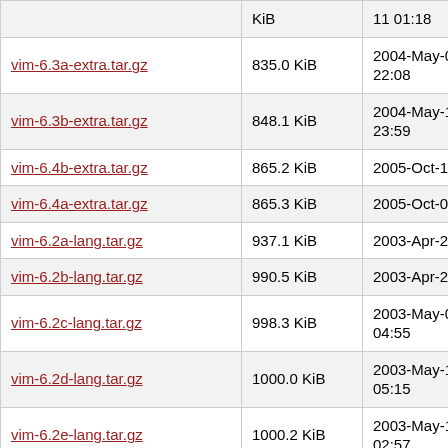| Name | Size | Date |
| --- | --- | --- |
| vim-6.3a-extra.tar.gz | 835.0 KiB | 2004-May-06 22:08 |
| vim-6.3b-extra.tar.gz | 848.1 KiB | 2004-May-16 23:59 |
| vim-6.4b-extra.tar.gz | 865.2 KiB | 2005-Oct-10 21:21 |
| vim-6.4a-extra.tar.gz | 865.3 KiB | 2005-Oct-09 23:06 |
| vim-6.2a-lang.tar.gz | 937.1 KiB | 2003-Apr-22 03:12 |
| vim-6.2b-lang.tar.gz | 990.5 KiB | 2003-Apr-28 02:43 |
| vim-6.2c-lang.tar.gz | 998.3 KiB | 2003-May-06 04:55 |
| vim-6.2d-lang.tar.gz | 1000.0 KiB | 2003-May-12 05:15 |
| vim-6.2e-lang.tar.gz | 1000.2 KiB | 2003-May-19 02:57 |
| vim-6.3b-lang.tar.gz | 1.0 MiB | 2004-May-16 23:59 |
| vim-6.3a-lang.tar.gz | 1.0 MiB | 2004-May-... |